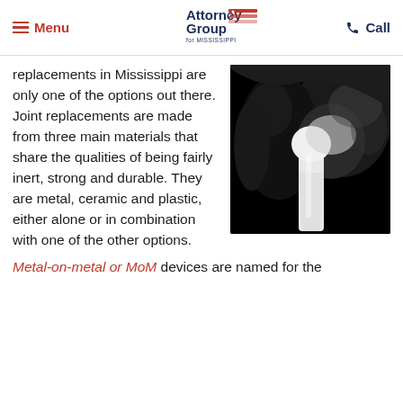Menu | Attorney Group for Mississippi | Call
replacements in Mississippi are only one of the options out there. Joint replacements are made from three main materials that share the qualities of being fairly inert, strong and durable. They are metal, ceramic and plastic, either alone or in combination with one of the other options.
[Figure (photo): X-ray image of a hip joint replacement implant showing a metal prosthetic stem and ball inserted into the hip socket, black and white radiograph]
Metal-on-metal or MoM devices are named for the